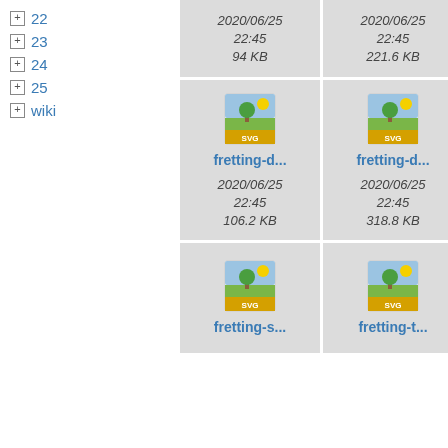+ 22
+ 23
+ 24
+ 25
+ wiki
[Figure (screenshot): File browser grid showing SVG file thumbnails with filenames fretting-d..., fretting-d..., fretting-s..., fretting-t... and partial entries, with dates 2020/06/25 22:45 and sizes 94 KB, 221.6 KB, 106.2 KB, 318.8 KB]
2020/06/25 22:45 94 KB
2020/06/25 22:45 221.6 KB
fretting-d...
fretting-d...
2020/06/25 22:45 106.2 KB
2020/06/25 22:45 318.8 KB
fretting-s...
fretting-t...